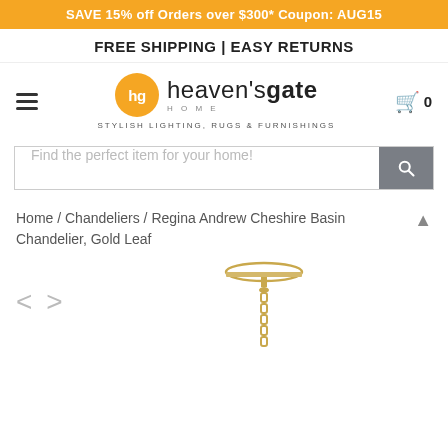SAVE 15% off Orders over $300* Coupon: AUG15
FREE SHIPPING | EASY RETURNS
[Figure (logo): Heaven's Gate Home logo — orange circle with 'hg', brand name 'heaven's gate HOME', tagline 'STYLISH LIGHTING, RUGS & FURNISHINGS']
[Figure (screenshot): Search bar with placeholder text 'Find the perfect item for your home!' and a grey search button]
Home / Chandeliers / Regina Andrew Cheshire Basin Chandelier, Gold Leaf
[Figure (photo): Top portion of a gold leaf chandelier with chain and ceiling mount, with left/right navigation arrows]